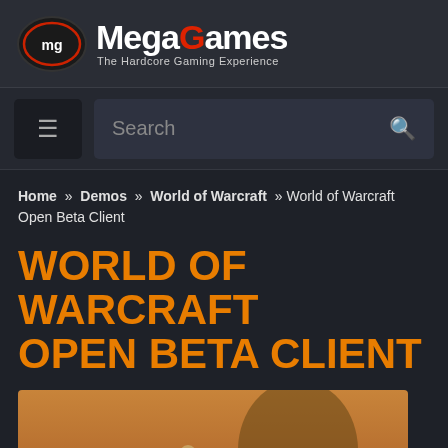MegaGames - The Hardcore Gaming Experience
Search
Home » Demos » World of Warcraft » World of Warcraft Open Beta Client
WORLD OF WARCRAFT OPEN BETA CLIENT
[Figure (screenshot): World of Warcraft game screenshot showing a character riding a dark horse with another character visible in a fantasy environment with warm orange/golden tones]